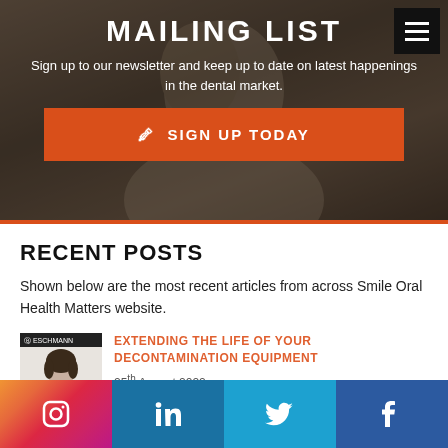[Figure (screenshot): Hero banner with blurred photo of person in glasses, dark overlay, text 'MAILING LIST' and subtitle, orange sign up button, black hamburger menu button top right]
MAILING LIST
Sign up to our newsletter and keep up to date on latest happenings in the dental market.
SIGN UP TODAY
RECENT POSTS
Shown below are the most recent articles from across Smile Oral Health Matters website.
EXTENDING THE LIFE OF YOUR DECONTAMINATION EQUIPMENT
25th August 2022
[Figure (infographic): Social media bar with Instagram, LinkedIn, Twitter, and Facebook icons]